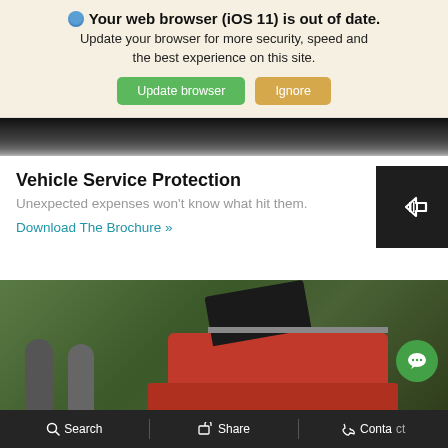Your web browser (iOS 11) is out of date. Update your browser for more security, speed and the best experience on this site.
Update browser | Ignore
[Figure (photo): Top strip of a dark car interior/exterior photo]
Vehicle Service Protection
Unexpected expenses won't know what hit them.
Download The Brochure »
[Figure (illustration): Dark box with a barcode/delete icon (white outline)]
[Figure (photo): Two people loading a red SUV with open trunk, green foliage background]
Search   Share   Contact